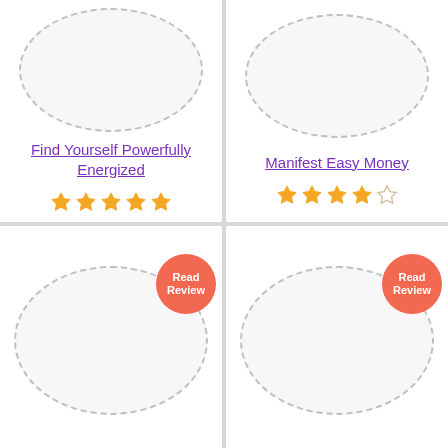[Figure (illustration): Product card with dashed oval placeholder image, title 'Find Yourself Powerfully Energized' in purple underlined text, and 5 orange star rating]
[Figure (illustration): Product card with dashed oval placeholder image, title 'Manifest Easy Money' in purple underlined text, and 4 orange star rating (4 filled, 1 empty)]
[Figure (illustration): Product card with dashed oval placeholder image and a red 'Read Review' badge in top-right corner]
[Figure (illustration): Product card with dashed oval placeholder image and a red 'Read Review' badge in top-right corner]